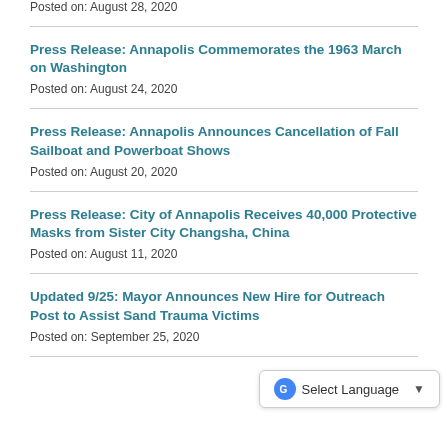Posted on: August 28, 2020
Press Release: Annapolis Commemorates the 1963 March on Washington
Posted on: August 24, 2020
Press Release: Annapolis Announces Cancellation of Fall Sailboat and Powerboat Shows
Posted on: August 20, 2020
Press Release: City of Annapolis Receives 40,000 Protective Masks from Sister City Changsha, China
Posted on: August 11, 2020
Updated 9/25: Mayor Announces New Hire for Outreach Post to Assist S… and Trauma Victims
Posted on: September 25, 2020